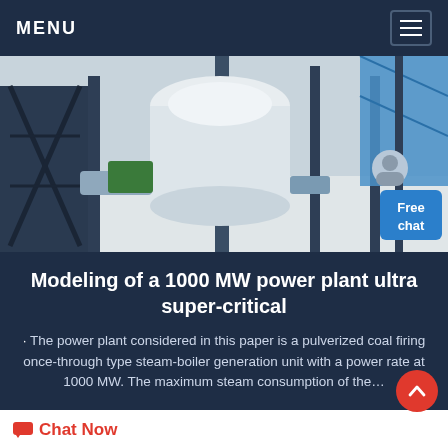MENU
[Figure (photo): Industrial power plant equipment — large white machinery, scaffolding, metal framework, and a blue tarp in the background. A chat support avatar appears in the lower right, with a 'Free chat' button.]
Modeling of a 1000 MW power plant ultra super-critical
The power plant considered in this paper is a pulverized coal firing once-through type steam-boiler generation unit with a power rate at 1000 MW. The maximum steam consumption of the...
Chat Now